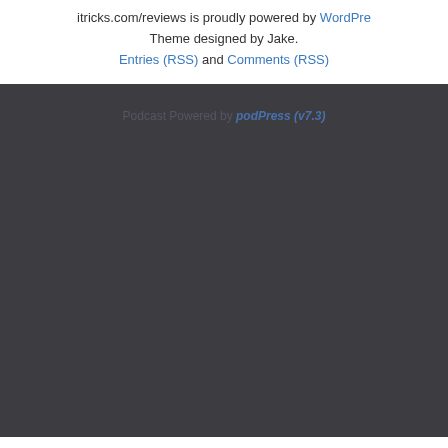itricks.com/reviews is proudly powered by WordPress. Theme designed by Jake. Entries (RSS) and Comments (RSS)
Podcast Powered by podPress (v7.3)